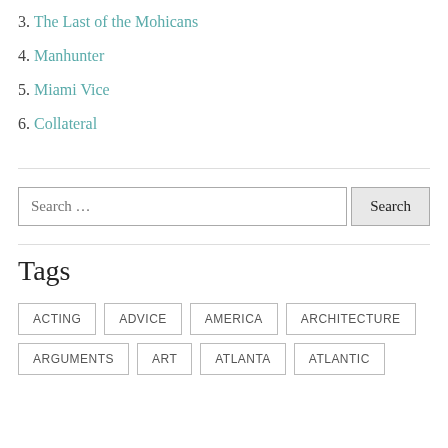3. The Last of the Mohicans
4. Manhunter
5. Miami Vice
6. Collateral
Tags
ACTING
ADVICE
AMERICA
ARCHITECTURE
ARGUMENTS
ART
ATLANTA
ATLANTIC